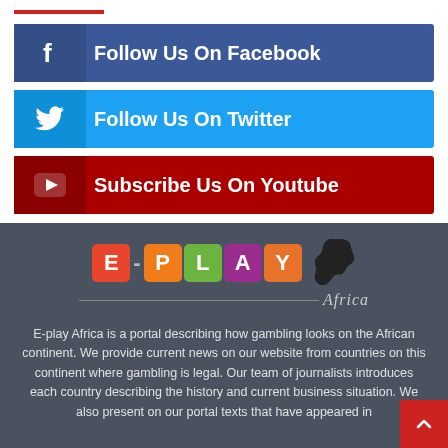[Figure (infographic): Social media follow buttons: Facebook (dark blue), Twitter (light blue), YouTube (dark red), with icons and text labels]
[Figure (logo): E-PLAY Africa logo with colored letter tiles (E in red, P in orange, L in green, A in purple, Y in orange) and Africa continent silhouette, with italic 'Africa' subtitle]
E-play Africa is a portal describing how gambling looks on the African continent. We provide current news on our website from countries on this continent where gambling is legal. Our team of journalists introduces each country describing the history and current business situation. We also present on our portal texts that have appeared in